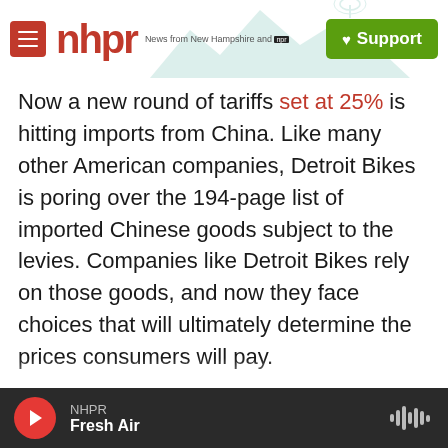nhpr — News from New Hampshire and NPR | Support
Now a new round of tariffs set at 25% is hitting imports from China. Like many other American companies, Detroit Bikes is poring over the 194-page list of imported Chinese goods subject to the levies. Companies like Detroit Bikes rely on those goods, and now they face choices that will ultimately determine the prices consumers will pay.
Pashak started the company when he moved to Detroit in 2011, at a time when the city was reeling.
"What drew me to Detroit was the history, the music, the manufacturing," he says. "But it was also
NHPR — Fresh Air